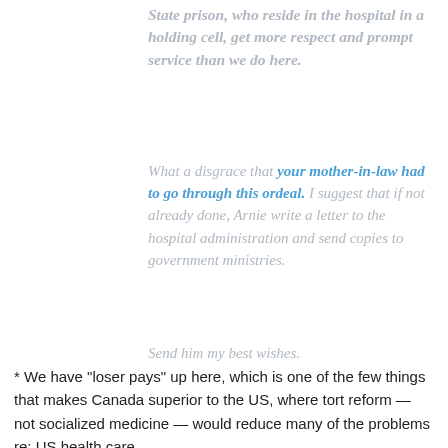State prison, who reside in the hospital in a holding cell, get more respect and prompt service than we do here.
What a disgrace that your mother-in-law had to go through this ordeal. I suggest that if not already done, Arnie write a letter to the hospital administration and send copies to government ministries.
Send him my best wishes.
* We have "loser pays" up here, which is one of the few things that makes Canada superior to the US, where tort reform — not socialized medicine — would reduce many of the problems re: US health care.